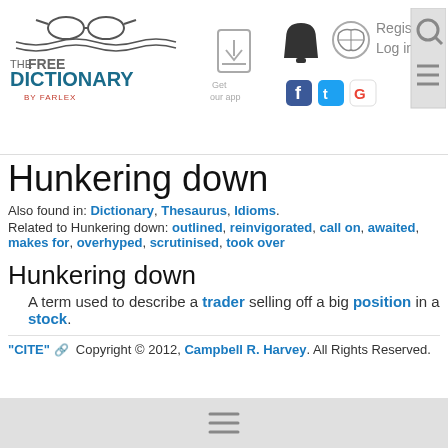[Figure (logo): The Free Dictionary by Farlex logo with glasses icon]
[Figure (illustration): Get our app download icon]
[Figure (illustration): Bell notification icon, brain icon, Register/Log in links, Facebook/Twitter/Google social icons, Search icon]
Hunkering down
Also found in: Dictionary, Thesaurus, Idioms.
Related to Hunkering down: outlined, reinvigorated, call on, awaited, makes for, overhyped, scrutinised, took over
Hunkering down
A term used to describe a trader selling off a big position in a stock.
"CITE" 🔗 Copyright © 2012, Campbell R. Harvey. All Rights Reserved.